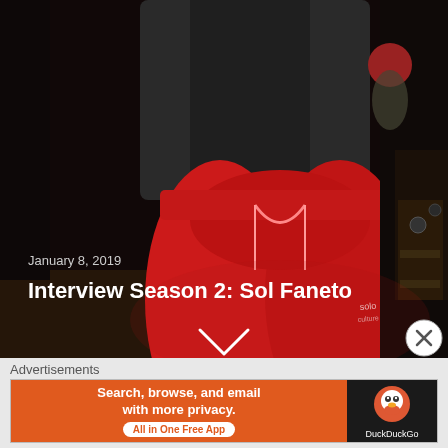[Figure (photo): Dark room scene with a person wearing red sweatpants/joggers and a dark hoodie. Another person visible in the background wearing a red beanie. Music equipment visible in the background. Date overlay 'January 8, 2019' and title 'Interview Season 2: Sol Faneto' visible in white text at bottom left. A chevron/down arrow icon is centered near the bottom.]
[Figure (other): Close button (X in a circle) at the right side near the boundary between photo and advertisement section.]
Advertisements
[Figure (screenshot): DuckDuckGo advertisement banner. Left side orange with text 'Search, browse, and email with more privacy.' and button 'All in One Free App'. Right side dark with DuckDuckGo logo and text 'DuckDuckGo'.]